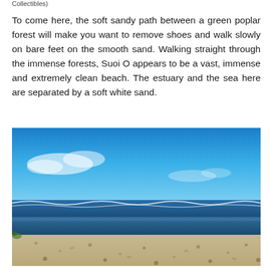Collectibles)
To come here, the soft sandy path between a green poplar forest will make you want to remove shoes and walk slowly on bare feet on the smooth sand. Walking straight through the immense forests, Suoi O appears to be a vast, immense and extremely clean beach. The estuary and the sea here are separated by a soft white sand.
[Figure (photo): A wide beach scene with a broad expanse of sandy shore in the foreground, a calm estuary or water channel in the middle ground, ocean waves visible in the background, and a vivid blue sky with light clouds above.]